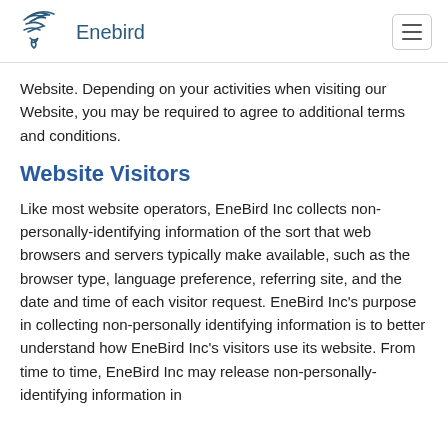Enebird
Website. Depending on your activities when visiting our Website, you may be required to agree to additional terms and conditions.
Website Visitors
Like most website operators, EneBird Inc collects non-personally-identifying information of the sort that web browsers and servers typically make available, such as the browser type, language preference, referring site, and the date and time of each visitor request. EneBird Inc's purpose in collecting non-personally identifying information is to better understand how EneBird Inc's visitors use its website. From time to time, EneBird Inc may release non-personally-identifying information in